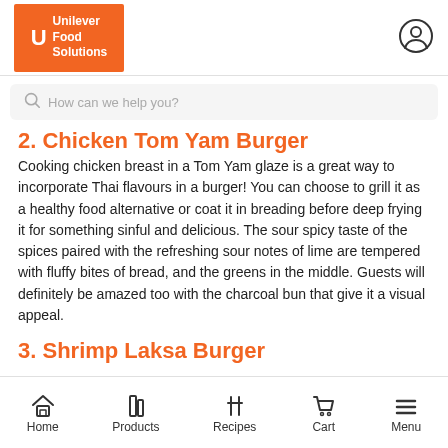Unilever Food Solutions
2. Chicken Tom Yam Burger
Cooking chicken breast in a Tom Yam glaze is a great way to incorporate Thai flavours in a burger! You can choose to grill it as a healthy food alternative or coat it in breading before deep frying it for something sinful and delicious. The sour spicy taste of the spices paired with the refreshing sour notes of lime are tempered with fluffy bites of bread, and the greens in the middle. Guests will definitely be amazed too with the charcoal bun that give it a visual appeal.
3. Shrimp Laksa Burger
Home  Products  Recipes  Cart  Menu